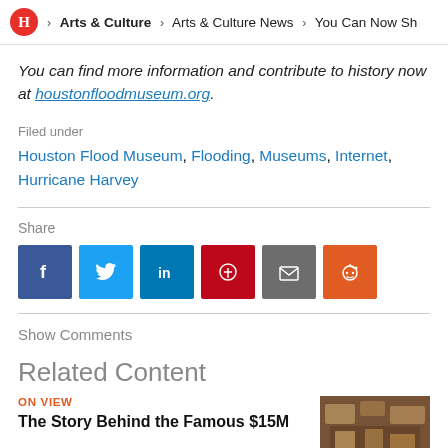H > Arts & Culture > Arts & Culture News > You Can Now Sh
You can find more information and contribute to history now at houstonfloodmuseum.org.
Filed under
Houston Flood Museum, Flooding, Museums, Internet, Hurricane Harvey
Share
[Figure (other): Social sharing buttons: Facebook, Twitter, LinkedIn, Pinterest, Email, Reddit]
Show Comments
Related Content
ON VIEW
The Story Behind the Famous $15M